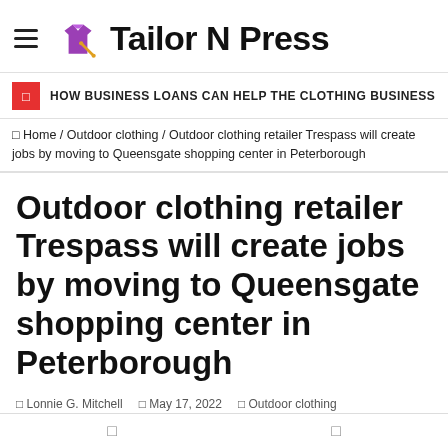Tailor N Press
HOW BUSINESS LOANS CAN HELP THE CLOTHING BUSINESS
Home / Outdoor clothing / Outdoor clothing retailer Trespass will create jobs by moving to Queensgate shopping center in Peterborough
Outdoor clothing retailer Trespass will create jobs by moving to Queensgate shopping center in Peterborough
Lonnie G. Mitchell  May 17, 2022  Outdoor clothing  Comments Off  16 Views